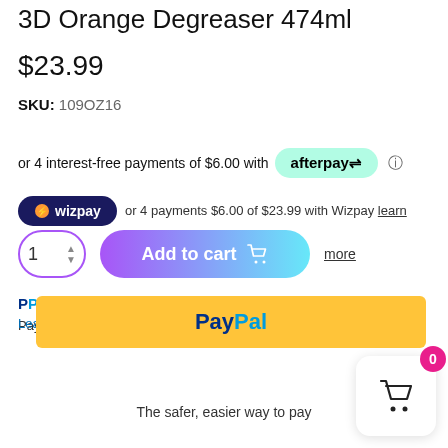3D Orange Degreaser 474ml
$23.99
SKU: 109OZ16
or 4 interest-free payments of $6.00 with afterpay
or 4 payments $6.00 of $23.99 with Wizpay learn more
Add to cart
Pay in 4 interest-free payments on purchases of $30-$2,000. Learn more
[Figure (logo): PayPal yellow button with PayPal logo]
The safer, easier way to pay